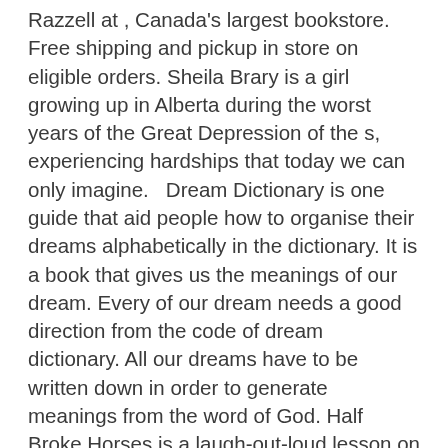Razzell at , Canada's largest bookstore. Free shipping and pickup in store on eligible orders. Sheila Brary is a girl growing up in Alberta during the worst years of the Great Depression of the s, experiencing hardships that today we can only imagine.   Dream Dictionary is one guide that aid people how to organise their dreams alphabetically in the dictionary. It is a book that gives us the meanings of our dream. Every of our dream needs a good direction from the code of dream dictionary. All our dreams have to be written down in order to generate meanings from the word of God. Half Broke Horses is a laugh-out-loud lesson on learning to fall, a story about the human spirit, the courage of adventure, and the choices we make. Jeannette Walls is a true credit to the teachings of Lily Casey Smith: Half Broke Horses stands on sturdy legs of . What is the dream meaning, symbols and interpretation about horses? Let's see the dream explanation as following: Horses are a symbol of the power of man in taming wild animals, at the same time horses in the dream are also a strong message of